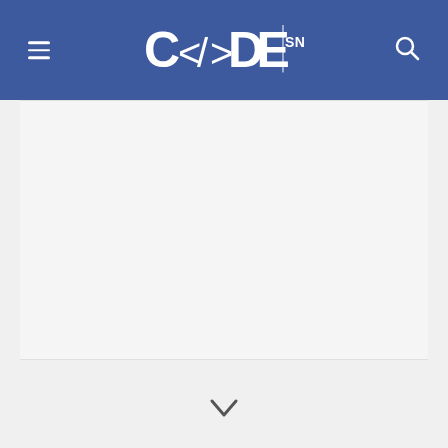CODE SNAIL - website header with logo and navigation
[Figure (screenshot): Large white/light gray content area placeholder below the header]
[Figure (other): Chevron/arrow icon at the bottom center of the page]